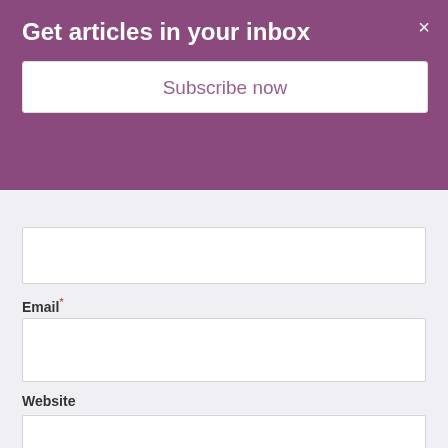Get articles in your inbox
Subscribe now
Email*
Website
Comment*